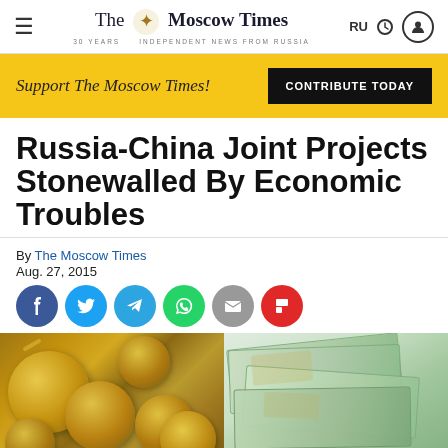The Moscow Times — Independent News From Russia
Support The Moscow Times! CONTRIBUTE TODAY
Russia-China Joint Projects Stonewalled By Economic Troubles
By The Moscow Times
Aug. 27, 2015
[Figure (photo): Left: Russian rubles (coins), Right: Chinese yuan (banknotes)]